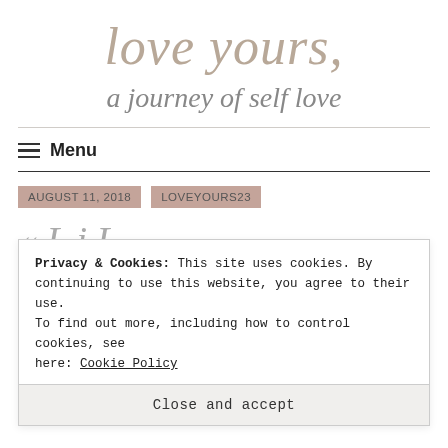love yours, a journey of self love
Menu
AUGUST 11, 2018   LOVEYOURS23
Privacy & Cookies: This site uses cookies. By continuing to use this website, you agree to their use. To find out more, including how to control cookies, see here: Cookie Policy
Close and accept